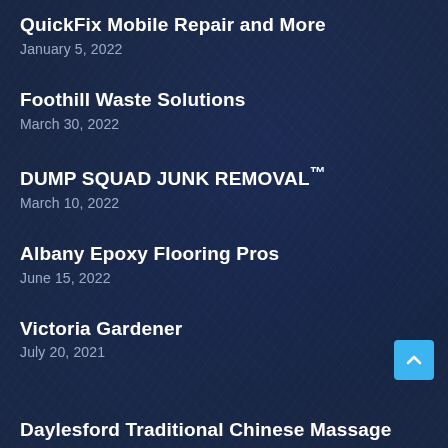QuickFix Mobile Repair and More
January 5, 2022
Foothill Waste Solutions
March 30, 2022
DUMP SQUAD JUNK REMOVAL™
March 10, 2022
Albany Epoxy Flooring Pros
June 15, 2022
Victoria Gardener
July 20, 2021
Daylesford Traditional Chinese Massage